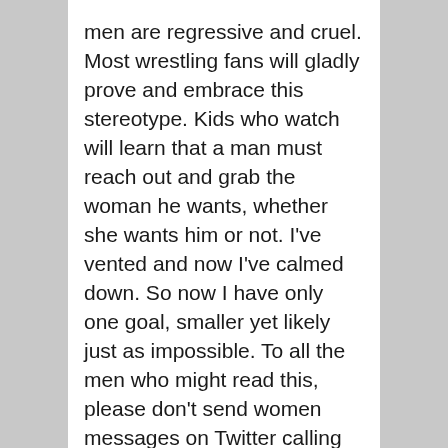men are regressive and cruel. Most wrestling fans will gladly prove and embrace this stereotype. Kids who watch will learn that a man must reach out and grab the woman he wants, whether she wants him or not. I've vented and now I've calmed down. So now I have only one goal, smaller yet likely just as impossible. To all the men who might read this, please don't send women messages on Twitter calling them awful things. Thanks.
But I digress… Winner: Rusev
And what better way to follow up that